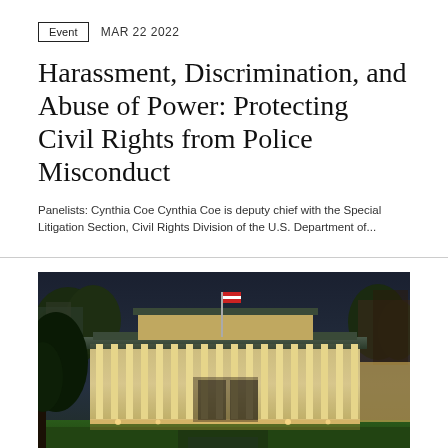Event   MAR 22 2022
Harassment, Discrimination, and Abuse of Power: Protecting Civil Rights from Police Misconduct
Panelists: Cynthia Coe Cynthia Coe is deputy chief with the Special Litigation Section, Civil Rights Division of the U.S. Department of...
[Figure (photo): Aerial nighttime view of a large neoclassical government or university building with illuminated columns, surrounded by trees and green lawn.]